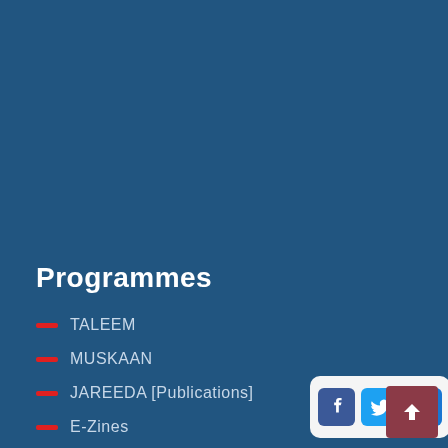Programmes
TALEEM
MUSKAAN
JAREEDA [Publications]
E-Zines
Joyrides
MAJLIS
Star Gazing
[Figure (infographic): Social share buttons: Facebook, Twitter, and a plus/share button on a light rounded rectangle card]